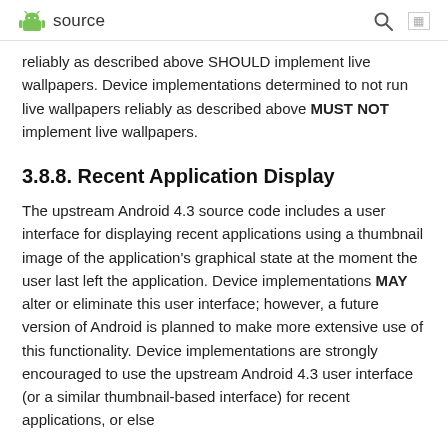source
reliably as described above SHOULD implement live wallpapers. Device implementations determined to not run live wallpapers reliably as described above MUST NOT implement live wallpapers.
3.8.8. Recent Application Display
The upstream Android 4.3 source code includes a user interface for displaying recent applications using a thumbnail image of the application's graphical state at the moment the user last left the application. Device implementations MAY alter or eliminate this user interface; however, a future version of Android is planned to make more extensive use of this functionality. Device implementations are strongly encouraged to use the upstream Android 4.3 user interface (or a similar thumbnail-based interface) for recent applications, or else